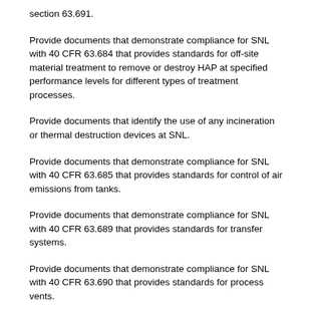section 63.691.
Provide documents that demonstrate compliance for SNL with 40 CFR 63.684 that provides standards for off-site material treatment to remove or destroy HAP at specified performance levels for different types of treatment processes.
Provide documents that identify the use of any incineration or thermal destruction devices at SNL.
Provide documents that demonstrate compliance for SNL with 40 CFR 63.685 that provides standards for control of air emissions from tanks.
Provide documents that demonstrate compliance for SNL with 40 CFR 63.689 that provides standards for transfer systems.
Provide documents that demonstrate compliance for SNL with 40 CFR 63.690 that provides standards for process vents.
Provide documents that demonstrate compliance for SNL with 40 CFR 63.691 that provides standards for equipment leaks.